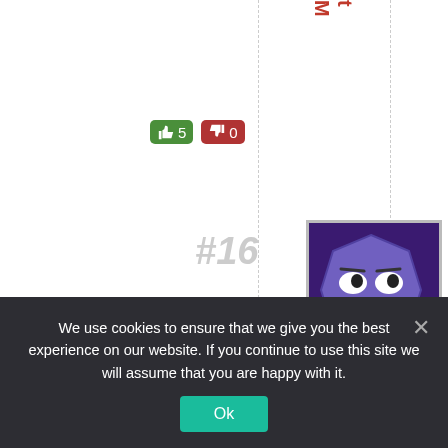t M
[Figure (screenshot): Website screenshot showing a ranked list entry (#16) with thumbs up (5) and thumbs down (0) vote buttons, a purple cartoon face avatar, username 'Neville', date 'Dec', and a cookie consent banner at the bottom reading 'We use cookies to ensure that we give you the best experience on our website. If you continue to use this site we will assume that you are happy with it.' with an Ok button.]
5  0
#16
Ne
ville
Dec
We use cookies to ensure that we give you the best experience on our website. If you continue to use this site we will assume that you are happy with it.
Ok